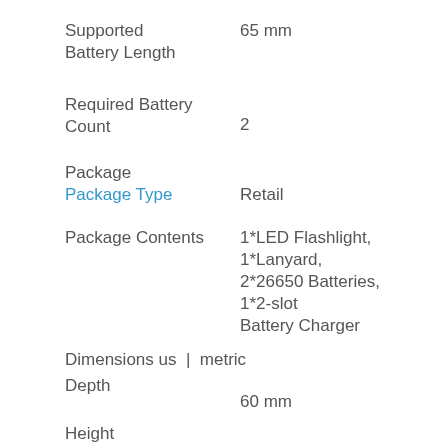Supported Battery Length	65 mm
Required Battery Count	2
Package
Package Type	Retail
Package Contents	1*LED Flashlight, 1*Lanyard, 2*26650 Batteries, 1*2-slot Battery Charger
Dimensions us | metric
Depth	60 mm
Height